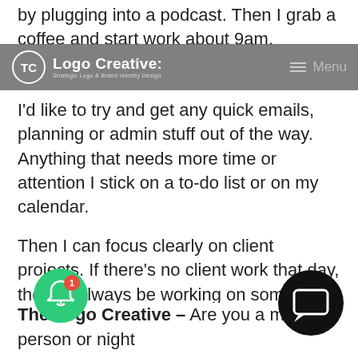by plugging into a podcast. Then I grab a coffee and start work about 9am.
The Logo Creative — Strategic Logo & Brand Identity Design | Menu
I'd like to try and get any quick emails, planning or admin stuff out of the way. Anything that needs more time or attention I stick on a to-do list or on my calendar.
Then I can focus clearly on client projects. If there's no client work that day, then I'll always be working on something else, usually a personal type or lettering-based project.
I usually down tools around 6:30pm. Although, I sometimes spend the evening doodling on the iPad if t... doesn't hold my interest, which is quite of...
The Logo Creative – Are you a morning person or night